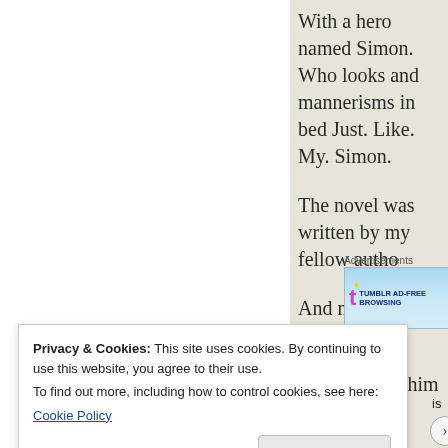With a hero named Simon. Who looks and mannerisms in bed Just. Like. My. Simon.
The novel was written by my fellow autho
And now I want to throttle her.
After I maim him first.
[Figure (screenshot): Tumblr Ad-Free Browsing advertisement banner with logo]
Privacy & Cookies: This site uses cookies. By continuing to use this website, you agree to their use.
To find out more, including how to control cookies, see here:
Cookie Policy

Close and accept